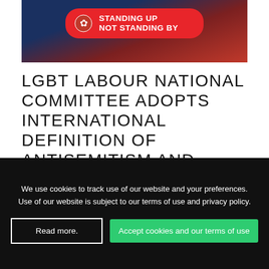[Figure (photo): Person at a podium with a red rounded banner reading 'STANDING UP NOT STANDING BY' with a Labour rose logo, on a dark background.]
LGBT LABOUR NATIONAL COMMITTEE ADOPTS INTERNATIONAL DEFINITION OF ANTISEMITISM AND DEMANDS THAT THE LABOUR PARTY DOES THE SAME
[Figure (photo): Partial bottom image showing tan, grey, and dark maroon color bands.]
We use cookies to track use of our website and your preferences. Use of our website is subject to our terms of use and privacy policy.
Read more.
Accept cookies and our terms of use